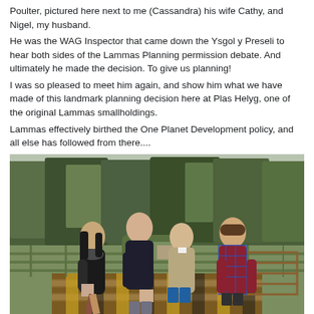Poulter, pictured here next to me (Cassandra) his wife Cathy, and Nigel, my husband.
He was the WAG Inspector that came down the Ysgol y Preseli to hear both sides of the Lammas Planning permission debate. And ultimately he made the decision. To give us planning!
I was so pleased to meet him again, and show him what we have made of this landmark planning decision here at Plas Helyg, one of the original Lammas smallholdings.
Lammas effectively birthed the One Planet Development policy, and all else has followed from there....
So many thanks to Andrew for being so far sighted and willing to take a risk! Amazing!
[Figure (photo): Four people standing together outdoors in front of a grass-roofed structure and trees, on a wooden bridge/walkway with a wooden gate. From left to right: a woman in black with a scarf, a tall older man in a dark jumper, a shorter woman in a beige coat and blue jeans, and a younger man in a plaid red and blue hoodie.]